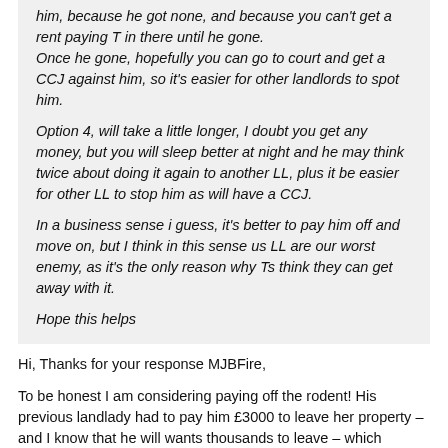him, because he got none, and because you can't get a rent paying T in there until he gone.
Once he gone, hopefully you can go to court and get a CCJ against him, so it's easier for other landlords to spot him.

Option 4, will take a little longer, I doubt you get any money, but you will sleep better at night and he may think twice about doing it again to another LL, plus it be easier for other LL to stop him as will have a CCJ.

In a business sense i guess, it's better to pay him off and move on, but I think in this sense us LL are our worst enemy, as it's the only reason why Ts think they can get away with it.

Hope this helps
Hi, Thanks for your response MJBFire,
To be honest I am considering paying off the rodent! His previous landlady had to pay him £3000 to leave her property – and I know that he will wants thousands to leave – which unfortuantly I do not have.
One other option could be to start the whole process again... I e